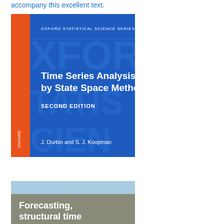accompany this excellent text.
[Figure (photo): Book cover of 'Time Series Analysis by State Space Methods, Second Edition' by J. Durbin and S. J. Koopman, Oxford Statistical Science Series No. 38. Blue and orange cover.]
[Figure (photo): Partial view of a second book cover with text 'Forecasting, structural time' visible on a gray/blue background.]